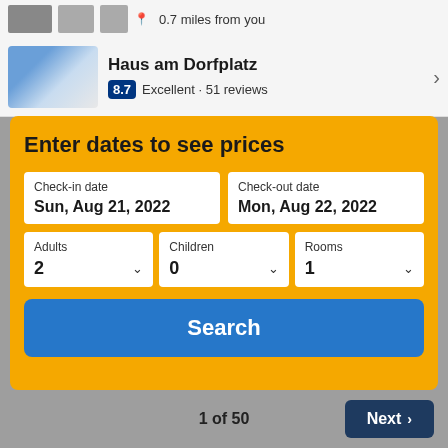[Figure (screenshot): Top bar with hotel thumbnail images and location text '0.7 miles from you']
[Figure (screenshot): Hotel listing strip showing 'Haus am Dorfplatz' with rating badge 8.7, label 'Excellent · 51 reviews']
Enter dates to see prices
Check-in date: Sun, Aug 21, 2022
Check-out date: Mon, Aug 22, 2022
Adults: 2
Children: 0
Rooms: 1
Search
1 of 50
Next